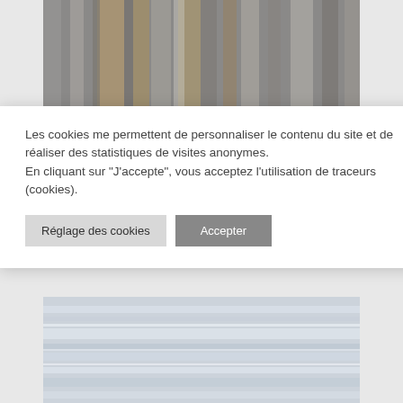[Figure (photo): Abstract blurred vertical streaks in brown, tan, and grey tones — motion-blurred nature or forest photograph]
Les cookies me permettent de personnaliser le contenu du site et de réaliser des statistiques de visites anonymes.
En cliquant sur "J'accepte", vous acceptez l'utilisation de traceurs (cookies).
[Figure (photo): Abstract blurred horizontal streaks in light blue and grey tones — motion-blurred sky or water photograph]